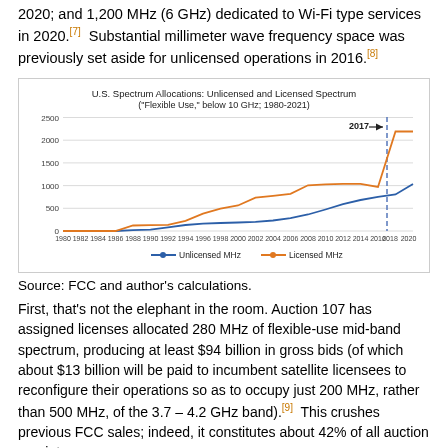2020; and 1,200 MHz (6 GHz) dedicated to Wi-Fi type services in 2020.[7]  Substantial millimeter wave frequency space was previously set aside for unlicensed operations in 2016.[8]
[Figure (line-chart): U.S. Spectrum Allocations: Unlicensed and Licensed Spectrum ("Flexible Use," below 10 GHz; 1980-2021)]
Source: FCC and author's calculations.
First, that's not the elephant in the room. Auction 107 has assigned licenses allocated 280 MHz of flexible-use mid-band spectrum, producing at least $94 billion in gross bids (of which about $13 billion will be paid to incumbent satellite licensees to reconfigure their operations so as to occupy just 200 MHz, rather than 500 MHz, of the 3.7 – 4.2 GHz band).[9]  This crushes previous FCC sales; indeed, it constitutes about 42% of all auction receipts: